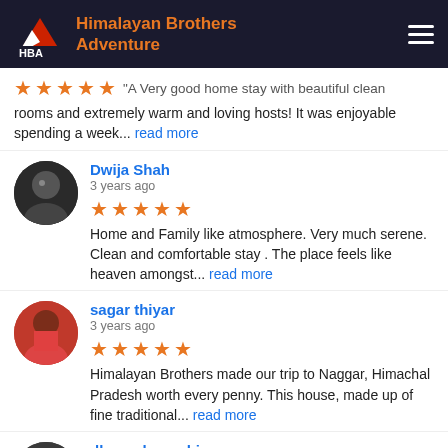Himalayan Brothers Adventure
A Very good home stay with beautiful clean rooms and extremely warm and loving hosts! It was enjoyable spending a week... read more
Dwija Shah
3 years ago
Home and Family like atmosphere. Very much serene. Clean and comfortable stay . The place feels like heaven amongst... read more
sagar thiyar
3 years ago
Himalayan Brothers made our trip to Naggar, Himachal Pradesh worth every penny. This house, made up of fine traditional... read more
dhaneshree ahir
3 years ago
Basically i was here for the academic stuff. And people here were quite supportive. Apart from that the facilities here are...